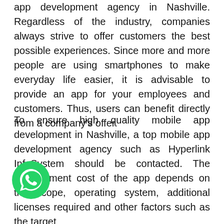app development agency in Nashville. Regardless of the industry, companies always strive to offer customers the best possible experiences. Since more and more people are using smartphones to make everyday life easier, it is advisable to provide an app for your employees and customers. Thus, users can benefit directly from a company's offer.
To ensure high quality mobile app development in Nashville, a top mobile app development agency such as Hyperlink InfoSystem should be contacted. The development cost of the app depends on the scope, operating system, additional licenses required and other factors such as the target
[Figure (logo): WhatsApp icon button — green circle with white phone/chat handset symbol]